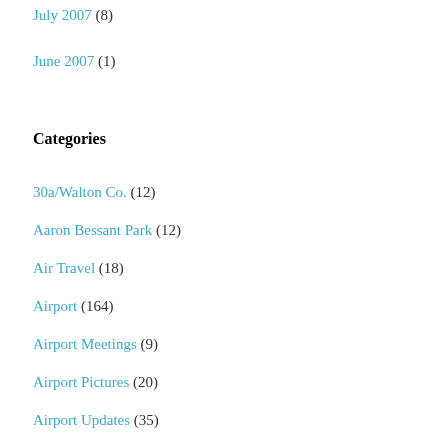July 2007 (8)
June 2007 (1)
Categories
30a/Walton Co. (12)
Aaron Bessant Park (12)
Air Travel (18)
Airport (164)
Airport Meetings (9)
Airport Pictures (20)
Airport Updates (35)
Airport Video (9)
Arts (44)